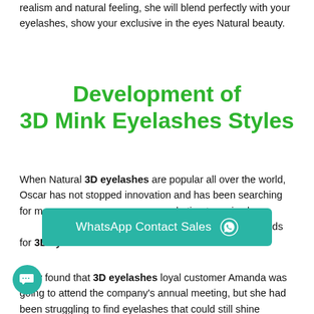realism and natural feeling, she will blend perfectly with your eyelashes, show your exclusive in the eyes Natural beauty.
Development of 3D Mink Eyelashes Styles
When Natural 3D eyelashes are popular all over the world, Oscar has not stopped innovation and has been searching for more innovative and stylish... marketing team is also... customer feedback and new needs for 3D eyelashes.
They found that 3D eyelashes loyal customer Amanda was going to attend the company's annual meeting, but she had been struggling to find eyelashes that could still shine...